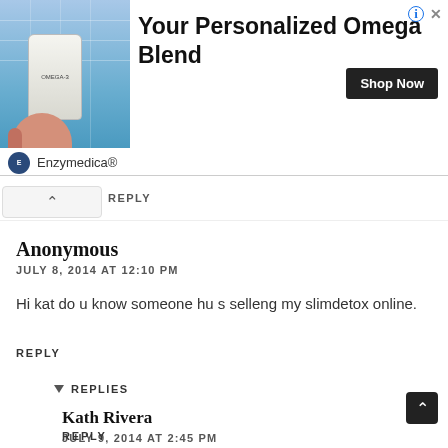[Figure (other): Advertisement banner for Enzymedica Omega supplement. Shows product bottle image on left, bold text 'Your Personalized Omega Blend' in center, 'Shop Now' button on right, and Enzymedica brand logo at bottom.]
REPLY
Anonymous
JULY 8, 2014 AT 12:10 PM
Hi kat do u know someone hu s selleng my slimdetox online.
REPLY
▾ REPLIES
Kath Rivera
JULY 9, 2014 AT 2:45 PM
Hello, parang I saw at Lazada. No idea pa try at their Facbook page. Thanks
REPLY